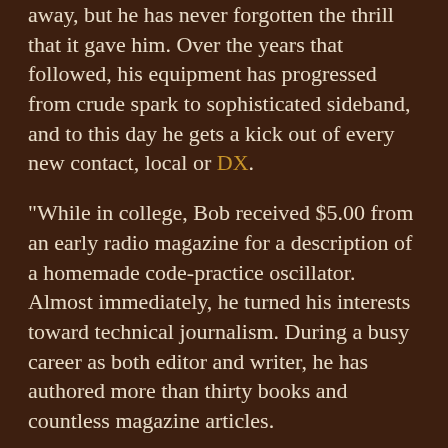away, but he has never forgotten the thrill that it gave him. Over the years that followed, his equipment has progressed from crude spark to sophisticated sideband, and to this day he gets a kick out of every new contact, local or DX.
"While in college, Bob received $5.00 from an early radio magazine for a description of a homemade code-practice oscillator. Almost immediately, he turned his interests toward technical journalism. During a busy career as both editor and writer, he has authored more than thirty books and countless magazine articles.
"In the late 1920s, he helped organize and promote the Army Amateur Radio